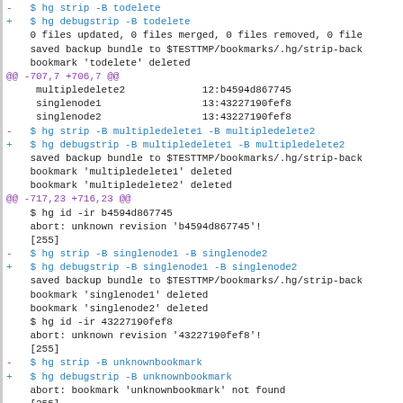- $ hg strip -B todelete
+ $ hg debugstrip -B todelete
  0 files updated, 0 files merged, 0 files removed, 0 file
  saved backup bundle to $TESTTMP/bookmarks/.hg/strip-back
  bookmark 'todelete' deleted
@@ -707,7 +706,7 @@
     multipledelete2             12:b4594d867745
     singlenode1                 13:43227190fef8
     singlenode2                 13:43227190fef8
- $ hg strip -B multipledelete1 -B multipledelete2
+ $ hg debugstrip -B multipledelete1 -B multipledelete2
  saved backup bundle to $TESTTMP/bookmarks/.hg/strip-back
  bookmark 'multipledelete1' deleted
  bookmark 'multipledelete2' deleted
@@ -717,23 +716,23 @@
  $ hg id -ir b4594d867745
  abort: unknown revision 'b4594d867745'!
  [255]
- $ hg strip -B singlenode1 -B singlenode2
+ $ hg debugstrip -B singlenode1 -B singlenode2
  saved backup bundle to $TESTTMP/bookmarks/.hg/strip-back
  bookmark 'singlenode1' deleted
  bookmark 'singlenode2' deleted
  $ hg id -ir 43227190fef8
  abort: unknown revision '43227190fef8'!
  [255]
- $ hg strip -B unknownbookmark
+ $ hg debugstrip -B unknownbookmark
  abort: bookmark 'unknownbookmark' not found
  [255]
- $ hg strip -B unknownbookmark1 -B unknownbookmark2
+ $ hg debugstrip -B unknownbookmark1 -B unknownbookmark2